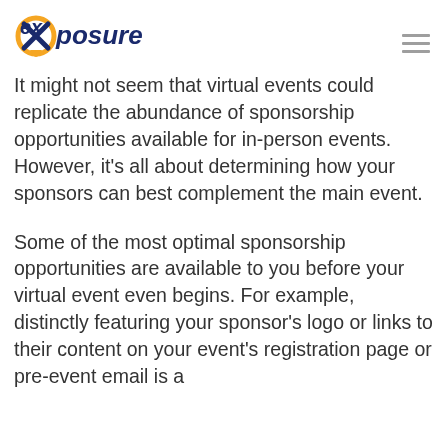exposure [logo]
It might not seem that virtual events could replicate the abundance of sponsorship opportunities available for in-person events. However, it’s all about determining how your sponsors can best complement the main event.
Some of the most optimal sponsorship opportunities are available to you before your virtual event even begins. For example, distinctly featuring your sponsor’s logo or links to their content on your event’s registration page or pre-event email is a